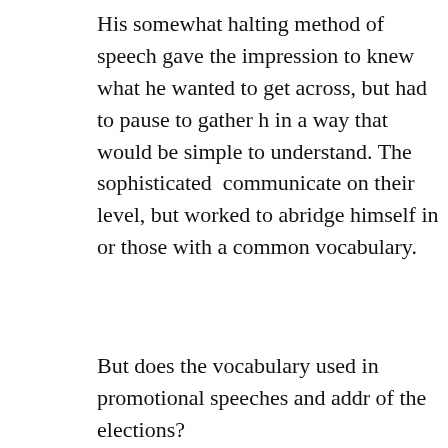His somewhat halting method of speech gave the impression to those who heard him that he knew what he wanted to get across, but had to pause to gather his thoughts and express them in a way that would be simple to understand. The sophisticated audience expected him to communicate on their level, but worked to abridge himself in order to be understood by those with a common vocabulary.
But does the vocabulary used in promotional speeches and addresses have an effect on the outcome of the elections?
Well, Bush beat Kerry in 2004, and Obama beat McCain in 2008. Can their victories be completely attributed to their vocabulary? Definitely not, and I'm not saying that, but there is reason to believe that it definitely played a role.
Humans trust those candidates who speak on a similar level to them. There are studies out there that examine the connection between trust and language.
Charles Feltman wrote a good article about trust and language in which he explains how leaders can intentionally build and sustain trust through their language. There's also another piece about leaders using communication to build trust, and how